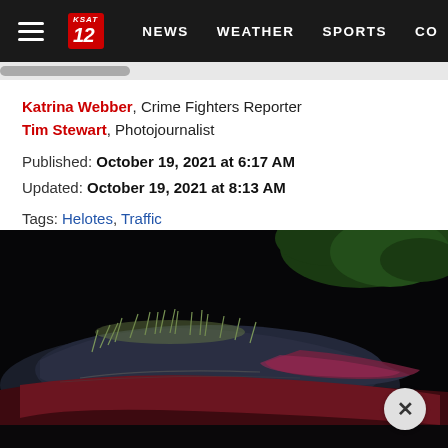KSAT 12 | NEWS | WEATHER | SPORTS | CO...
Katrina Webber, Crime Fighters Reporter
Tim Stewart, Photojournalist
Published: October 19, 2021 at 6:17 AM
Updated: October 19, 2021 at 8:13 AM
Tags: Helotes, Traffic
[Figure (photo): Nighttime photo of a severely damaged vehicle, overturned or crashed, with debris and grass on top. The car appears to be dark colored. Trees visible in background.]